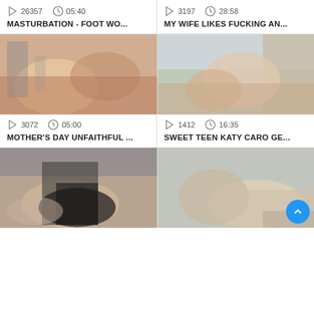26357   05:40
MASTURBATION - FOOT WO...
3197   28:58
MY WIFE LIKES FUCKING AN...
[Figure (photo): Video thumbnail image]
[Figure (photo): Video thumbnail image]
3072   05:00
MOTHER'S DAY UNFAITHFUL ...
1412   16:35
SWEET TEEN KATY CARO GE...
[Figure (photo): Video thumbnail image]
[Figure (photo): Video thumbnail image]